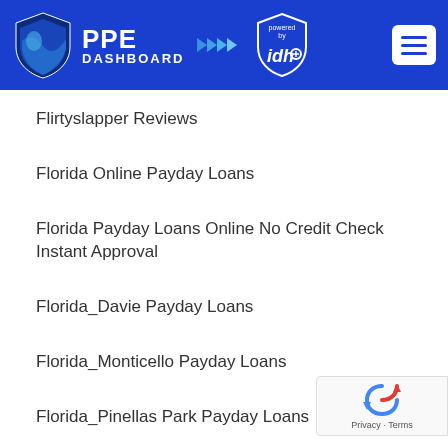[Figure (logo): PPE Dashboard logo powered by IDH with shield icon, on blue header background with hamburger menu icon]
Flirtyslapper Reviews
Florida Online Payday Loans
Florida Payday Loans Online No Credit Check Instant Approval
Florida_Davie Payday Loans
Florida_Monticello Payday Loans
Florida_Pinellas Park Payday Loans
Fontana Reviews
Foot Fetish Dating Conseils
[Figure (logo): Google reCAPTCHA badge with rotating arrows logo and Privacy · Terms text]